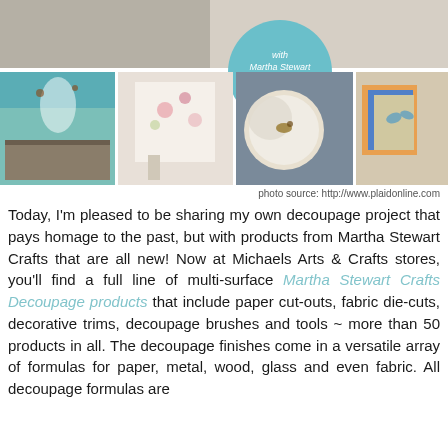[Figure (photo): Collage of craft/decoupage project photos featuring Martha Stewart Crafts products. Top strip shows a teal dresser and craft items. Bottom row has four photos: glass vase with bird decorations on teal table, floral decoupaged canvas on wall, decorated plates with bird designs, and decorated notebooks/cards with butterfly motifs. A teal circular badge reads 'with Martha Stewart Crafts'.]
photo source: http://www.plaidonline.com
Today, I'm pleased to be sharing my own decoupage project that pays homage to the past, but with products from Martha Stewart Crafts that are all new! Now at Michaels Arts & Crafts stores, you'll find a full line of multi-surface Martha Stewart Crafts Decoupage products that include paper cut-outs, fabric die-cuts, decorative trims, decoupage brushes and tools ~ more than 50 products in all. The decoupage finishes come in a versatile array of formulas for paper, metal, wood, glass and even fabric. All decoupage formulas are dishwasher safe, machine washable, non-yellowing,